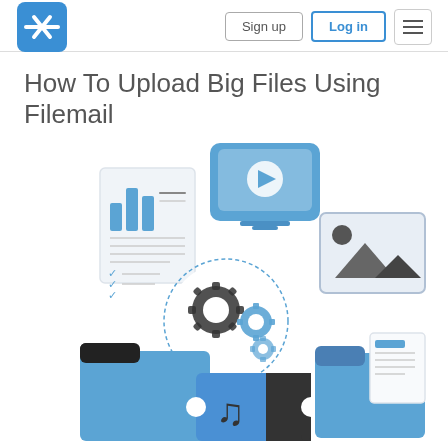Filemail navigation header with logo, Sign up, Log in, and menu buttons
How To Upload Big Files Using Filemail
[Figure (illustration): Infographic showing various file type icons (document with chart, video player, image, folder, gears/settings, music ticket, folder with document) arranged in a circle around a central gears icon, representing file upload types supported by Filemail.]